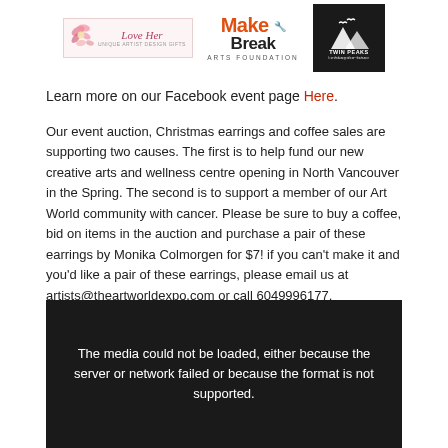[Figure (logo): Three sponsor logos: Love Her (floral design), Make and Break Arts Foundation (orange/black text), Twin Peaks Construction (white on black)]
Learn more on our Facebook event page Here.
Our event auction, Christmas earrings and coffee sales are supporting two causes. The first is to help fund our new creative arts and wellness centre opening in North Vancouver in the Spring. The second is to support a member of our Art World community with cancer. Please be sure to buy a coffee, bid on items in the auction and purchase a pair of these earrings by Monika Colmorgen for $7! if you can't make it and you'd like a pair of these earrings, please email us at artists@theartworldexpo.com or call 6049996177.
[Figure (screenshot): Dark media player box with text: The media could not be loaded, either because the server or network failed or because the format is not supported.]